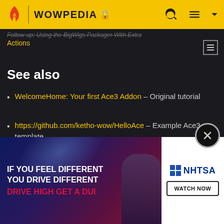WOWPEDIA
Follow-up: Using the BigWigs PackagerWith Extra Actions
See also
WelcomeHome: Your first Ace3 Addon – Original tutorial
https://github.com/ketho-wow/HelloAce – Example Ace3 template
References
1. http... https:// old/...
[Figure (infographic): NHTSA advertisement: IF YOU FEEL DIFFERENT YOU DRIVE DIFFERENT DRIVE HIGH GET A DUI - Watch Now]